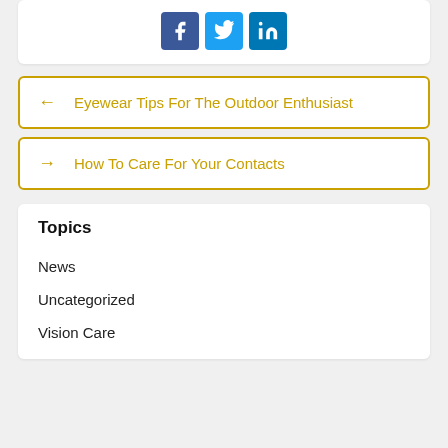[Figure (other): Social media share buttons: Facebook (blue), Twitter (light blue), LinkedIn (blue)]
← Eyewear Tips For The Outdoor Enthusiast
→ How To Care For Your Contacts
Topics
News
Uncategorized
Vision Care